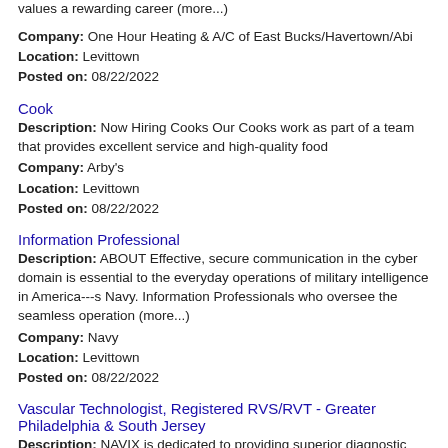values a rewarding career (more...)
Company: One Hour Heating & A/C of East Bucks/Havertown/Abi
Location: Levittown
Posted on: 08/22/2022
Cook
Description: Now Hiring Cooks Our Cooks work as part of a team that provides excellent service and high-quality food
Company: Arby's
Location: Levittown
Posted on: 08/22/2022
Information Professional
Description: ABOUT Effective, secure communication in the cyber domain is essential to the everyday operations of military intelligence in America---s Navy. Information Professionals who oversee the seamless operation (more...)
Company: Navy
Location: Levittown
Posted on: 08/22/2022
Vascular Technologist, Registered RVS/RVT - Greater Philadelphia & South Jersey
Description: NAVIX is dedicated to providing superior diagnostic